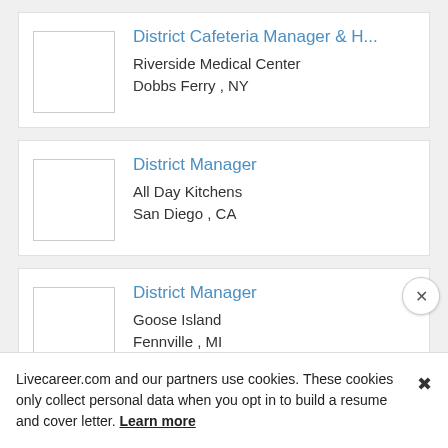District Cafeteria Manager & H... | Riverside Medical Center | Dobbs Ferry , NY
District Manager | All Day Kitchens | San Diego , CA
District Manager | Goose Island | Fennville , MI
Livecareer.com and our partners use cookies. These cookies only collect personal data when you opt in to build a resume and cover letter. Learn more